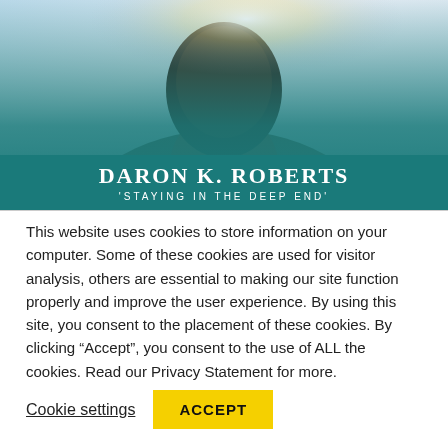[Figure (photo): Photo of Daron K. Roberts smiling, wearing a turtleneck and blazer, with a teal background overlay. Text overlay reads 'DARON K. ROBERTS' and ''STAYING IN THE DEEP END'']
This website uses cookies to store information on your computer. Some of these cookies are used for visitor analysis, others are essential to making our site function properly and improve the user experience. By using this site, you consent to the placement of these cookies. By clicking “Accept”, you consent to the use of ALL the cookies. Read our Privacy Statement for more.
Cookie settings
ACCEPT